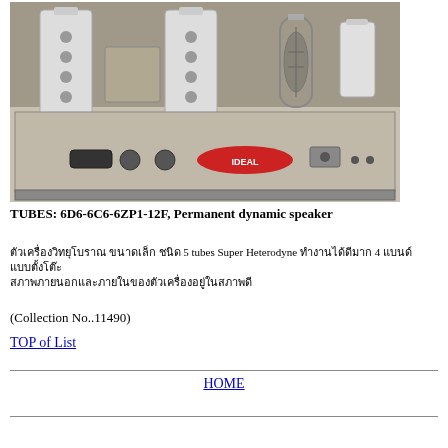[Figure (photo): Interior view of a vintage radio chassis showing vacuum tubes (including a glass tube), cylindrical white coil forms with holes, a metal chassis panel with the 'IDEAL' brand label, knobs, and wiring]
TUBES: 6D6-6C6-6ZP1-12F, Permanent dynamic speaker
ตัวเครื่องวิทยุโบราณ ขนาดเล็ก ชนิด 5 tubes Super Heterodyne ทำงานได้ดีมาก 4 แบนด์
แบบตั้งโต๊ะ
สภาพภายนอกและภายในของตัวเครื่องอยู่ในสภาพดี
(Collection No..11490)
TOP of List
HOME